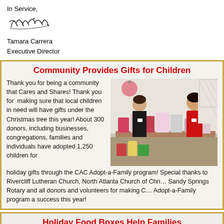In Service,
[Figure (illustration): Handwritten cursive signature reading 'Tamara']
Tamara Carrera
Executive Director
Community Provides Gifts for Children
Thank you for being a community that Cares and Shares! Thank you for  making sure that local children in need will have gifts under the Christmas tree this year! About 300 donors, including businesses, congregations, families and individuals have adopted 1,250 children for holiday gifts through the CAC Adopt-a-Family program! Special thanks to Rivercliff Lutheran Church, North Atlanta Church of Christ, Sandy Springs Rotary and all donors and volunteers for making CAC Adopt-a-Family program a success this year!
[Figure (photo): Two women sorting and organizing wrapped holiday gifts and bags on a table]
Holiday Food Boxes Help Families